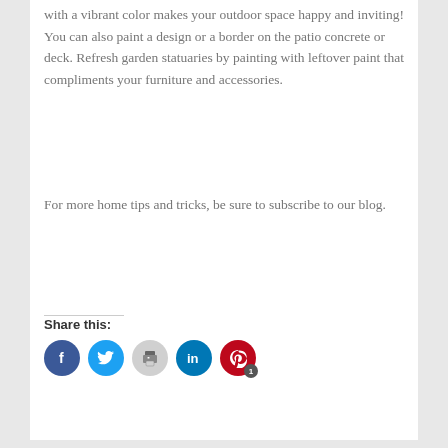with a vibrant color makes your outdoor space happy and inviting! You can also paint a design or a border on the patio concrete or deck. Refresh garden statuaries by painting with leftover paint that compliments your furniture and accessories.
For more home tips and tricks, be sure to subscribe to our blog.
Share this:
[Figure (infographic): Social share buttons: Facebook (blue circle), Twitter (blue circle), Print (gray circle), LinkedIn (blue circle), Pinterest (red circle with badge 1)]